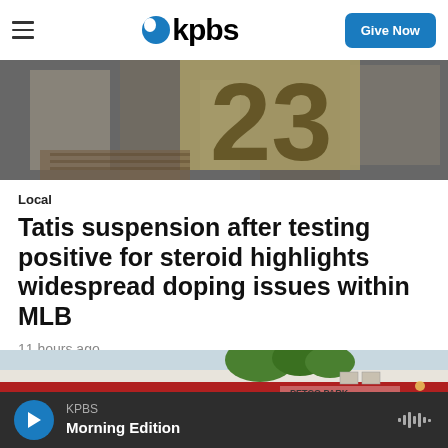KPBS
[Figure (photo): Close-up photo of a baseball jersey number, partially visible, showing bottom of letters on a wooden or textured background with shadow patterns]
Local
Tatis suspension after testing positive for steroid highlights widespread doping issues within MLB
11 hours ago
[Figure (photo): Exterior photo of a stadium or arena with red and white facade, trees visible above, and partial signage reading PETCO PARK]
KPBS Morning Edition